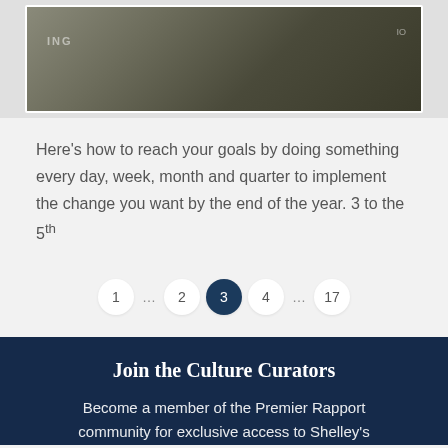[Figure (photo): Two people seated in chairs in an interior setting, partially visible at top of page]
Here's how to reach your goals by doing something every day, week, month and quarter to implement the change you want by the end of the year. 3 to the 5th
1 … 2 3 4 … 17
Join the Culture Curators
Become a member of the Premier Rapport community for exclusive access to Shelley's